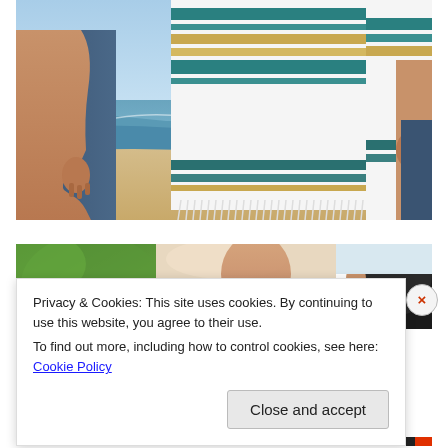[Figure (photo): Close-up photo of a person standing on a beach wearing blue denim shorts and holding a white striped beach towel with teal, tan and teal stripes and white fringe tassels. Sandy beach and ocean visible in the background.]
[Figure (photo): Partial photo below showing a person near greenery and another person's ear/face visible at the right, cropped by cookie consent overlay.]
Privacy & Cookies: This site uses cookies. By continuing to use this website, you agree to their use.
To find out more, including how to control cookies, see here: Cookie Policy
Close and accept